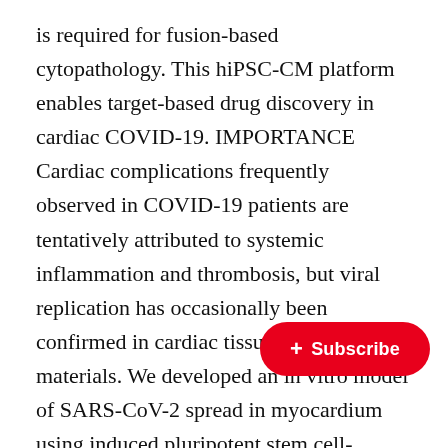is required for fusion-based cytopathology. This hiPSC-CM platform enables target-based drug discovery in cardiac COVID-19. IMPORTANCE Cardiac complications frequently observed in COVID-19 patients are tentatively attributed to systemic inflammation and thrombosis, but viral replication has occasionally been confirmed in cardiac tissue autopsy materials. We developed an in vitro model of SARS-CoV-2 spread in myocardium using induced pluripotent stem cell-derived cardiomyocytes. In these highly differentiated cells, viral transcription levels exceeded those previously documented in permissive transformed cell lines. To better understand the mechanisms of SARS-CoV-2 spread, we expressed a fluorescent version of its spike prote… to characterize a fusion-based cytopa… mutant of the spike protein with a single amino acid
[Figure (other): Red subscribe button overlay with plus sign and text '+ Subscribe']